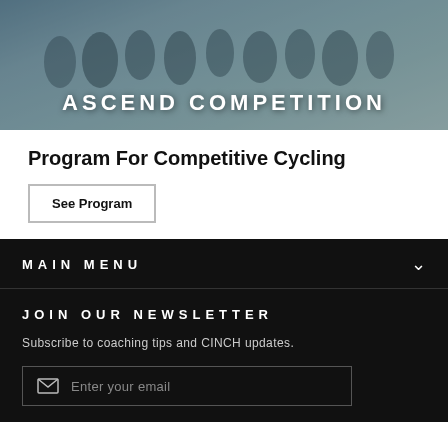[Figure (photo): Group of cyclists racing on a road, viewed from front-low angle, with text overlay 'ASCEND COMPETITION']
Program For Competitive Cycling
See Program
MAIN MENU
JOIN OUR NEWSLETTER
Subscribe to coaching tips and CINCH updates.
Enter your email